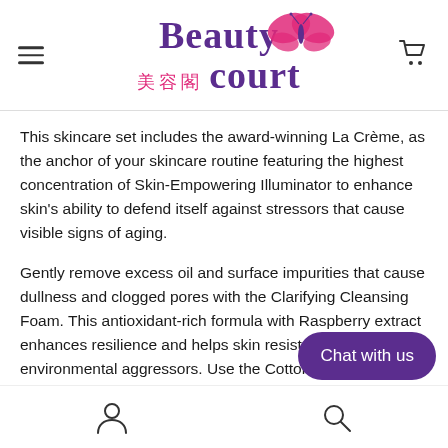Beauty court 美容閣
This skincare set includes the award-winning La Crème, as the anchor of your skincare routine featuring the highest concentration of Skin-Empowering Illuminator to enhance skin's ability to defend itself against stressors that cause visible signs of aging.
Gently remove excess oil and surface impurities that cause dullness and clogged pores with the Clarifying Cleansing Foam. This antioxidant-rich formula with Raspberry extract enhances resilience and helps skin resist the effects of environmental aggressors. Use the Cotton to swipe Hydro-Clarifying Lotion over your skin to help hydrate and diminish the look of pores. Boost skin's suppleness while priming for optimal absorption of h…